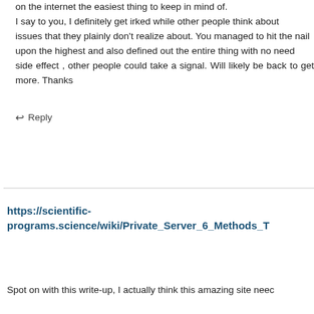on the internet the easiest thing to keep in mind of.
I say to you, I definitely get irked while other people think about
issues that they plainly don't realize about. You managed to hit the nail
upon the highest and also defined out the entire thing with no need
side effect , other people could take a signal. Will likely be back to get more. Thanks
↩ Reply
https://scientific-programs.science/wiki/Private_Server_6_Methods_T
Spot on with this write-up, I actually think this amazing site neec